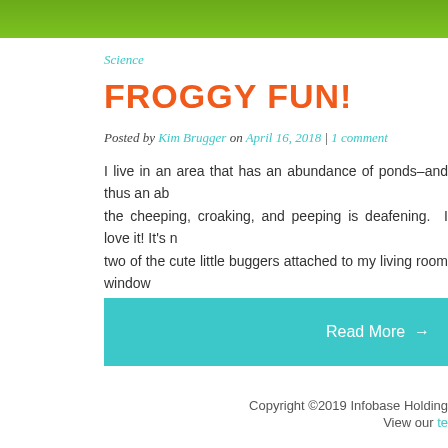[Figure (photo): Green header banner image at the top of the page]
Science
FROGGY FUN!
Posted by Kim Brugger on April 16, 2018 | 1 comment
I live in an area that has an abundance of ponds–and thus an ab the cheeping, croaking, and peeping is deafening.  I love it! It's n two of the cute little buggers attached to my living room window
Read More →
Copyright ©2019 Infobase Holding View our te